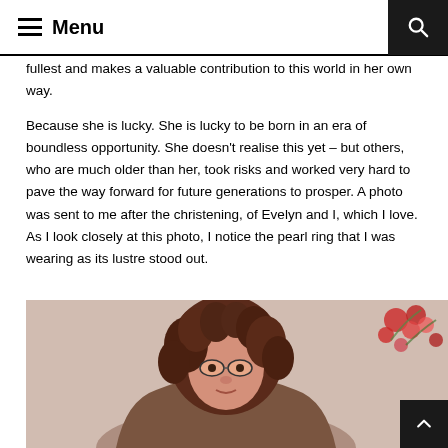Menu
fullest and makes a valuable contribution to this world in her own way.
Because she is lucky. She is lucky to be born in an era of boundless opportunity. She doesn't realise this yet – but others, who are much older than her, took risks and worked very hard to pave the way forward for future generations to prosper. A photo was sent to me after the christening, of Evelyn and I, which I love. As I look closely at this photo, I notice the pearl ring that I was wearing as its lustre stood out.
[Figure (photo): A photo showing a person with curly auburn hair, wearing glasses, with flowers visible in the background.]